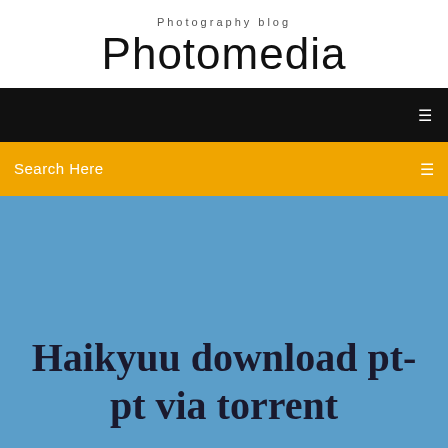Photography blog
Photomedia
[Figure (screenshot): Black navigation bar with a small white icon on the right]
Search Here
Haikyuu download pt-pt via torrent